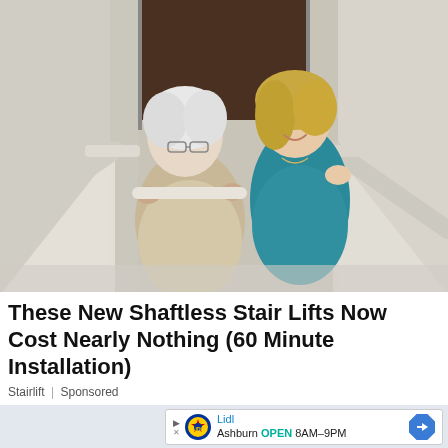[Figure (photo): An elderly woman with white hair and glasses grips a stairlift handle bar at the top of a staircase, wearing a beige cardigan. A younger blonde woman in a teal/blue satin blouse stands behind her, smiling. The background shows a hallway with white walls and a dark wooden door.]
These New Shaftless Stair Lifts Now Cost Nearly Nothing (60 Minute Installation)
Stairlift | Sponsored
[Figure (other): Lidl advertisement banner showing the Lidl logo (blue circle with red and yellow star design), text 'Lidl' in teal, 'Ashburn OPEN 8AM-9PM', with a blue diamond arrow icon on the right and play/close buttons on the left.]